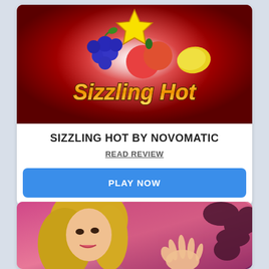[Figure (screenshot): Sizzling Hot slot game image with fruits (grapes, peaches, lemon) and a gold star on a dark red background with the text 'Sizzling Hot']
SIZZLING HOT BY NOVOMATIC
READ REVIEW
PLAY NOW
[Figure (screenshot): Partially visible slot game image showing a blonde female character on a pink/purple background with dark foliage]